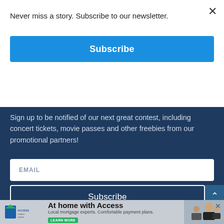Never miss a story. Subscribe to our newsletter.
[Figure (screenshot): Blue Subscribe button in modal top area]
Sign up to be notified of our next great contest, including concert tickets, movie passes and other freebies from our promotional partners!
[Figure (screenshot): Email input field with placeholder EMAIL label]
[Figure (screenshot): Subscribe button (outline white) on dark blue background]
[Figure (logo): ChrisD.ca logo in white and blue on dark navy background]
[Figure (screenshot): Access Credit Union advertisement banner: At home with Access - Local mortgage experts. Comfortable payment plans. LEARN MORE]